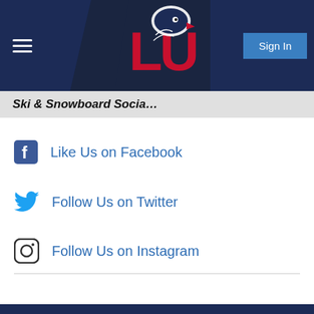Liberty University – Ski & Snowboard Social
Ski & Snowboard Socia…
Like Us on Facebook
Follow Us on Twitter
Follow Us on Instagram